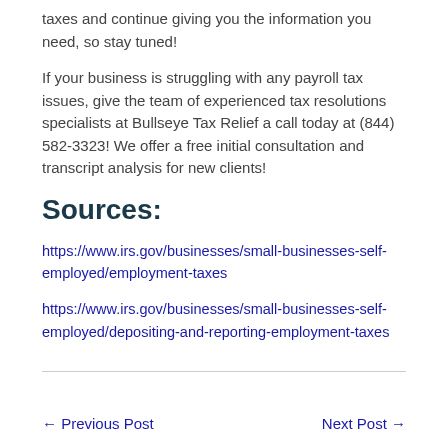taxes and continue giving you the information you need, so stay tuned!
If your business is struggling with any payroll tax issues, give the team of experienced tax resolutions specialists at Bullseye Tax Relief a call today at (844) 582-3323! We offer a free initial consultation and transcript analysis for new clients!
Sources:
https://www.irs.gov/businesses/small-businesses-self-employed/employment-taxes
https://www.irs.gov/businesses/small-businesses-self-employed/depositing-and-reporting-employment-taxes
← Previous Post    Next Post →